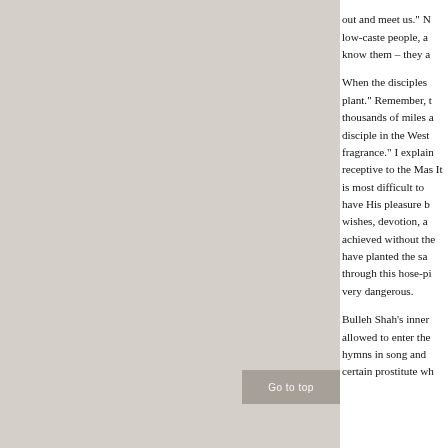out and meet us." N low-caste people, a know them – they a
When the disciples plant." Remember, t thousands of miles a disciple in the West fragrance." I explain receptive to the Mas It is most difficult to have His pleasure b wishes, devotion, a achieved without the have planted the sa through this hose-pi very dangerous.
Bulleh Shah's inner allowed to enter the hymns in song and certain prostitute wh